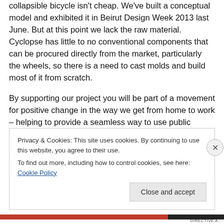collapsible bicycle isn't cheap. We've built a conceptual model and exhibited it in Beirut Design Week 2013 last June. But at this point we lack the raw material. Cyclopse has little to no conventional components that can be procured directly from the market, particularly the wheels, so there is a need to cast molds and build most of it from scratch.
By supporting our project you will be part of a movement for positive change in the way we get from home to work – helping to provide a seamless way to use public transportation and lessen our dependence on single
Privacy & Cookies: This site uses cookies. By continuing to use this website, you agree to their use.
To find out more, including how to control cookies, see here: Cookie Policy
Close and accept